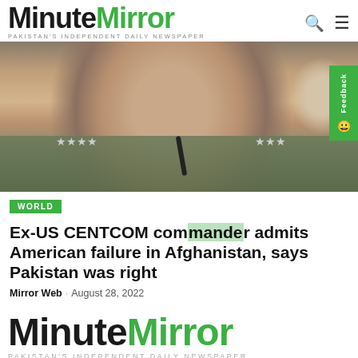MinuteMirror — PAKISTAN'S INDEPENDENT DAILY NEWSPAPER
[Figure (photo): Close-up photo of a US military general in olive green uniform with four-star insignia, speaking at a hearing with a microphone in front of him.]
WORLD
Ex-US CENTCOM commander admits American failure in Afghanistan, says Pakistan was right
Mirror Web · August 28, 2022
[Figure (logo): MinuteMirror logo — PAKISTAN'S INDEPENDENT DAILY NEWSPAPER]